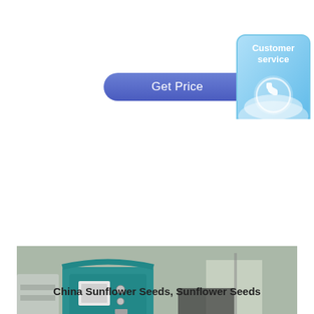[Figure (illustration): Get Price button - blue rounded rectangle button with white text]
[Figure (illustration): Customer service badge - blue rounded square with phone icon and 'Customer service (Online)' text]
[Figure (photo): Photo of a teal/green industrial sunflower seed oil press machine with control panel on the left and metal collection trays on the right, in an industrial warehouse setting]
China Sunflower Seeds, Sunflower Seeds